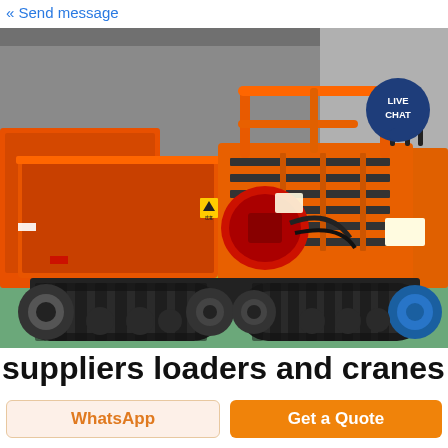« Send message
[Figure (photo): Orange tracked dumper/carrier machine with rubber tracks, red engine, orange cage structure, blue wheel, photographed in a warehouse/factory setting. A 'LIVE CHAT' badge overlays the upper right of the photo.]
suppliers loaders and cranes for
WhatsApp
Get a Quote